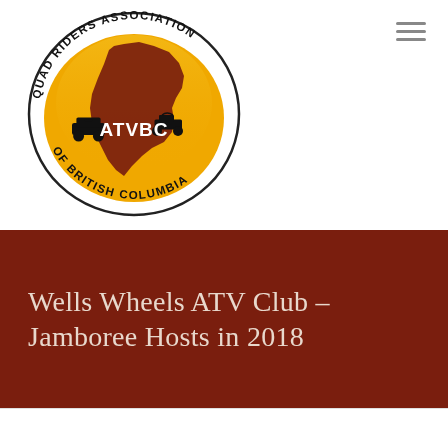[Figure (logo): Quad Riders Association of British Columbia (ATVBC) circular logo with orange/yellow background, dark red BC map silhouette, ATV vehicles, and text 'QUAD RIDERS ASSOCIATION OF BRITISH COLUMBIA' around the border and 'ATVBC' in the center]
Wells Wheels ATV Club – Jamboree Hosts in 2018